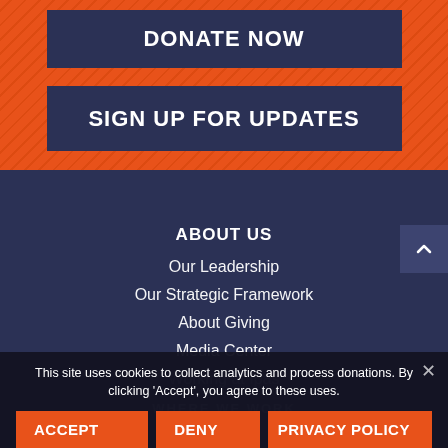DONATE NOW
SIGN UP FOR UPDATES
ABOUT US
Our Leadership
Our Strategic Framework
About Giving
Media Center
Working at Ipas
WHERE WE WORK
This site uses cookies to collect analytics and process donations. By clicking 'Accept', you agree to these uses.
ACCEPT
DENY
PRIVACY POLICY